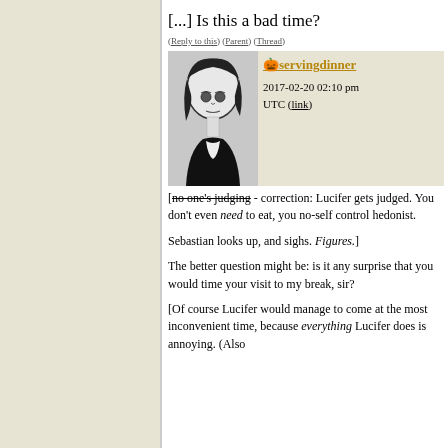[...] Is this a bad time?
(Reply to this) (Parent) (Thread)
[Figure (illustration): Manga-style illustration of a dark-haired character looking downward, black and white artwork]
servingdinner
2017-02-20 02:10 pm UTC (link)
[no one's judging - correction: Lucifer gets judged. You don't even need to eat, you no-self control hedonist.

Sebastian looks up, and sighs. Figures.]

The better question might be: is it any surprise that you would time your visit to my break, sir?

[Of course Lucifer would manage to come at the most inconvenient time, because everything Lucifer does is annoying. (Also